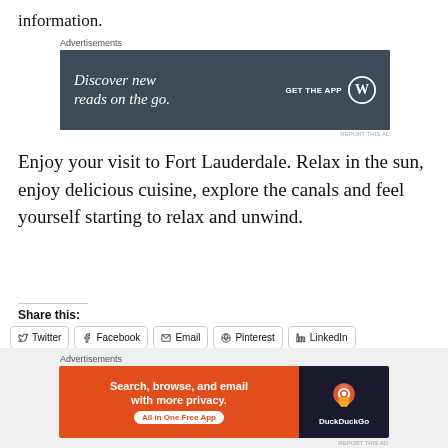information.
[Figure (other): Advertisement banner: Discover new reads on the go. GET THE APP [WordPress logo]]
Enjoy your visit to Fort Lauderdale. Relax in the sun, enjoy delicious cuisine, explore the canals and feel yourself starting to relax and unwind.
Share this:
Twitter  Facebook  Email  Pinterest  LinkedIn
[Figure (other): Advertisement banner: Search, browse, and email with more privacy. All in One Free App [DuckDuckGo logo]]